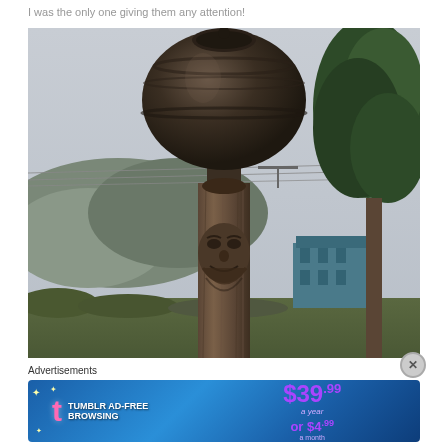I was the only one giving them any attention!
[Figure (photo): A large dark ceramic urn or jar mounted atop a wooden totem pole with a carved face, photographed from below against an overcast sky. Trees are visible on the right, hills/mountains in the background, and a blue building on the right. Power lines cross the sky.]
Advertisements
[Figure (other): Tumblr Ad-Free Browsing advertisement banner. Shows Tumblr logo with pink 't', text 'TUMBLR AD-FREE BROWSING', price '$39.99 a year or $4.99 a month' in purple on blue gradient background.]